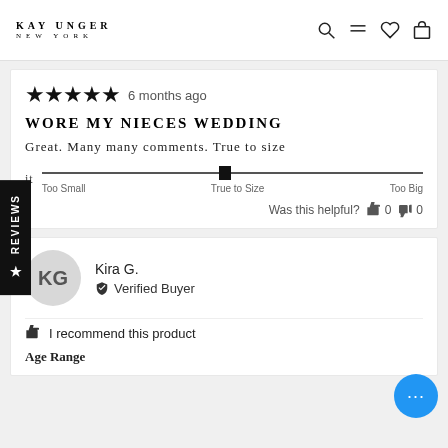KAY UNGER NEW YORK
★★★★★ 6 months ago
WORE MY NIECES WEDDING
Great. Many many comments. True to size
Fit — slider: True to Size — Too Small / True to Size / Too Big
Was this helpful? 👍 0 👎 0
KG — Kira G. — Verified Buyer
👍 I recommend this product
Age Range